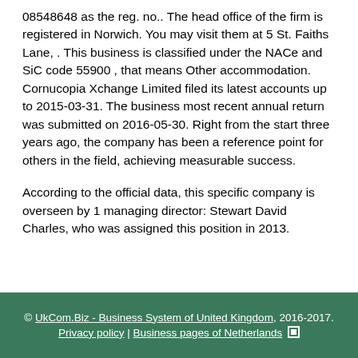08548648 as the reg. no.. The head office of the firm is registered in Norwich. You may visit them at 5 St. Faiths Lane, . This business is classified under the NACe and SiC code 55900 , that means Other accommodation. Cornucopia Xchange Limited filed its latest accounts up to 2015-03-31. The business most recent annual return was submitted on 2016-05-30. Right from the start three years ago, the company has been a reference point for others in the field, achieving measurable success.
According to the official data, this specific company is overseen by 1 managing director: Stewart David Charles, who was assigned this position in 2013.
© UkCom.Biz - Business System of United Kingdom, 2016-2017. Privacy policy | Business pages of Netherlands